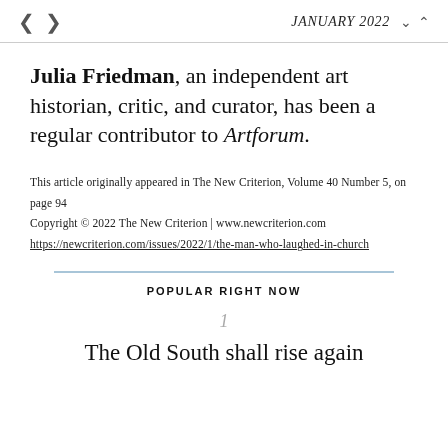< >  JANUARY 2022  ∨ ∧
Julia Friedman, an independent art historian, critic, and curator, has been a regular contributor to Artforum.
This article originally appeared in The New Criterion, Volume 40 Number 5, on page 94
Copyright © 2022 The New Criterion | www.newcriterion.com
https://newcriterion.com/issues/2022/1/the-man-who-laughed-in-church
POPULAR RIGHT NOW
1
The Old South shall rise again